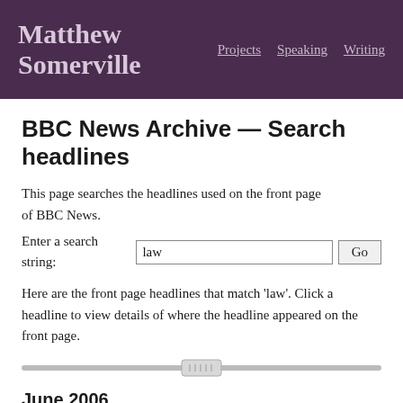Matthew Somerville — Projects Speaking Writing
BBC News Archive — Search headlines
This page searches the headlines used on the front page of BBC News.
Enter a search string: law  Go
Here are the front page headlines that match 'law'. Click a headline to view details of where the headline appeared on the front page.
[Figure (other): A horizontal range slider control centered on the page]
June 2006